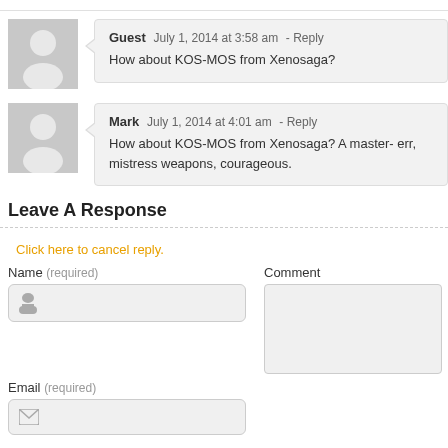Guest July 1, 2014 at 3:58 am - Reply
How about KOS-MOS from Xenosaga?
Mark July 1, 2014 at 4:01 am - Reply
How about KOS-MOS from Xenosaga? A master- err, mistress weapons, courageous.
Leave A Response
Click here to cancel reply.
Name (required)
Comment
Email (required)